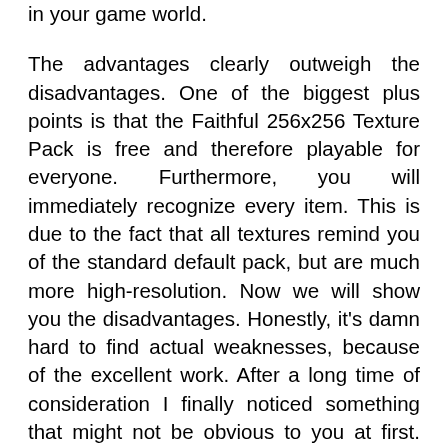in your game world.

The advantages clearly outweigh the disadvantages. One of the biggest plus points is that the Faithful 256x256 Texture Pack is free and therefore playable for everyone. Furthermore, you will immediately recognize every item. This is due to the fact that all textures remind you of the standard default pack, but are much more high-resolution. Now we will show you the disadvantages. Honestly, it's damn hard to find actual weaknesses, because of the excellent work. After a long time of consideration I finally noticed something that might not be obvious to you at first. Such excellent blocks and items need some computing power that not every computer